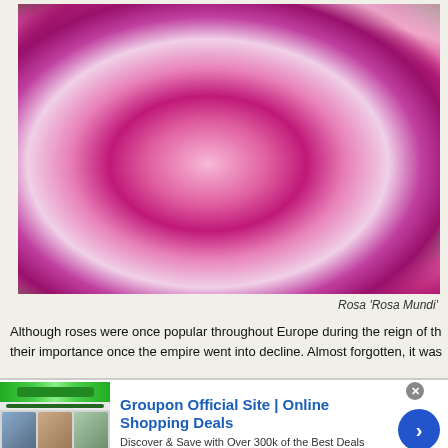[Figure (photo): Close-up photograph of Rosa 'Rosa Mundi' flowers — large pink and white striped blooms with yellow stamens against dark green leaves]
Rosa 'Rosa Mundi'
Although roses were once popular throughout Europe during the reign of the their importance once the empire went into decline. Almost forgotten, it was
[Figure (screenshot): Groupon advertisement banner: 'Groupon Official Site | Online Shopping Deals — Discover & Save with Over 300k of the Best Deals — www.groupon.com' with arrow button]